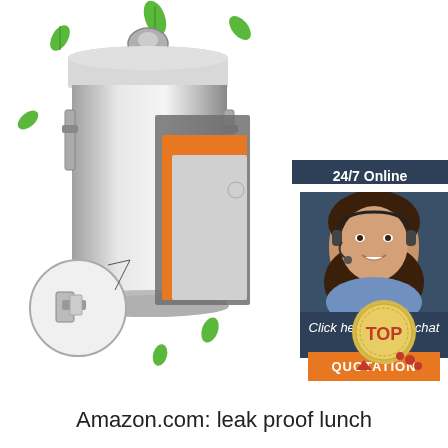[Figure (photo): Product photo of a stainless steel leak-proof insulated lunch container with locking clamps. Shows the main cylindrical canister with transparent lid, an inset close-up of the locking mechanism, and layered size comparison panels in gray, orange, and silver. Green leaf decorations scattered around. Background is white.]
24/7 Online
[Figure (photo): Customer service agent woman wearing headset and smiling, shown in a dark blue sidebar panel.]
Click here for free chat !
QUOTATION
[Figure (photo): TOP badge — a circular gold/yellow medal with red TOP text and red dots.]
Amazon.com: leak proof lunch